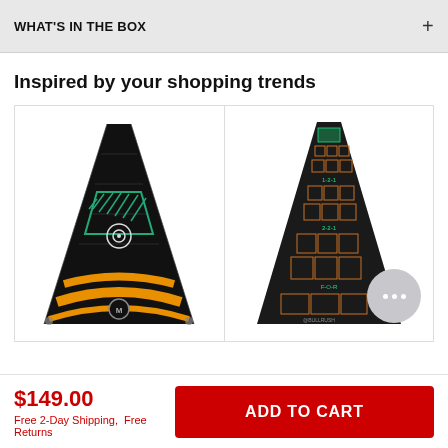WHAT'S IN THE BOX
Inspired by your shopping trends
[Figure (photo): Left product card showing a triangular/trapezoidal dart mat with dark background, green diagonal stripe pattern, orange/yellow curved stripes at the bottom, and a bullseye logo]
[Figure (photo): Right product card showing a triangular/trapezoidal dart mat with dark background, orange grid squares and green markings at the top, with a chat bubble overlay in the bottom right]
$149.00
Free 2-Day Shipping,  Free Returns
ADD TO CART